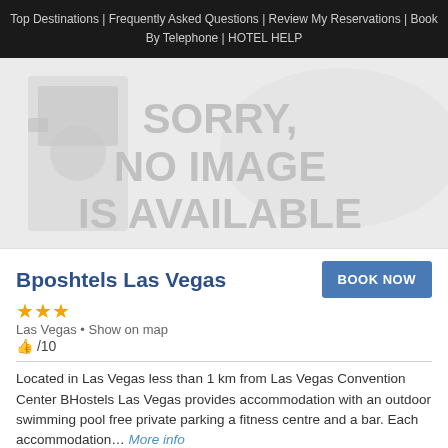Top Destinations | Frequently Asked Questions | Review My Reservations | Book By Telephone | HOTEL HELP
[Figure (other): Placeholder image with text: SORRY, NO IMAGE IS AVAILABLE]
Bposhtels Las Vegas
★★★
Las Vegas • Show on map
👍 /10
Located in Las Vegas less than 1 km from Las Vegas Convention Center BHostels Las Vegas provides accommodation with an outdoor swimming pool free private parking a fitness centre and a bar. Each accommodation… More info
View Details for Price